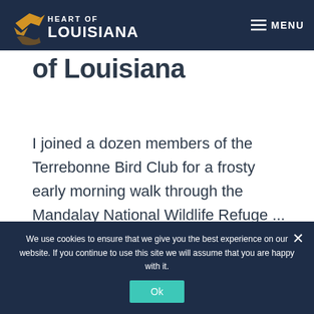Heart of Louisiana — MENU
of Louisiana
I joined a dozen members of the Terrebonne Bird Club for a frosty early morning walk through the Mandalay National Wildlife Refuge ...
CONTINUE READING
We use cookies to ensure that we give you the best experience on our website. If you continue to use this site we will assume that you are happy with it.
Ok